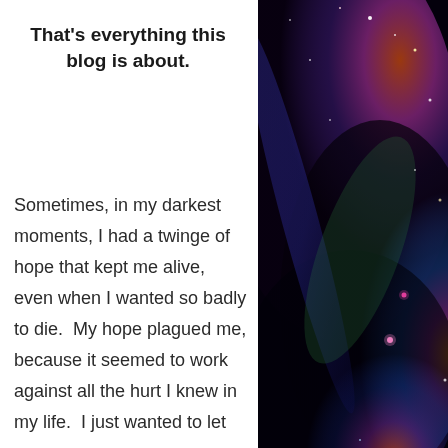[Figure (photo): Space nebula photograph showing colorful cosmic clouds with stars against a dark background, visible on the right side of the page behind the white text panel]
That's everything this blog is about.
Sometimes, in my darkest moments, I had a twinge of hope that kept me alive, even when I wanted so badly to die.  My hope plagued me, because it seemed to work against all the hurt I knew in my life.  I just wanted to let